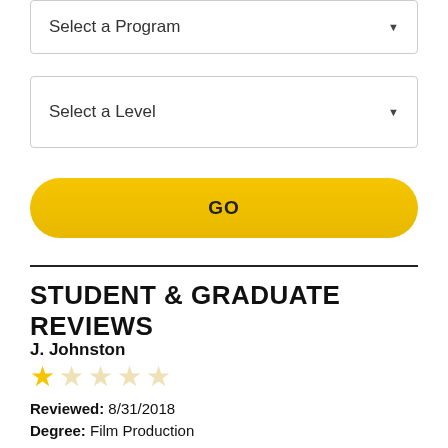Select a Program
Select a Level
GO
STUDENT & GRADUATE REVIEWS
J. Johnston
★☆☆☆☆
Reviewed: 8/31/2018
Degree: Film Production